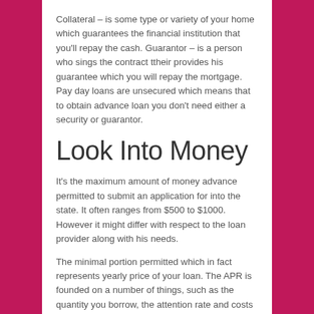Collateral – is some type or variety of your home which guarantees the financial institution that you'll repay the cash. Guarantor – is a person who sings the contract ttheir provides his guarantee which you will repay the mortgage. Pay day loans are unsecured which means that to obtain advance loan you don't need either a security or guarantor.
Look Into Money
It's the maximum amount of money advance permitted to submit an application for into the state. It often ranges from $500 to $1000. However it might differ with respect to the loan provider along with his needs.
The minimal portion permitted which in fact represents yearly price of your loan. The APR is founded on a number of things, such as the quantity you borrow, the attention rate and costs you're being charged, as well as the period of your loan.